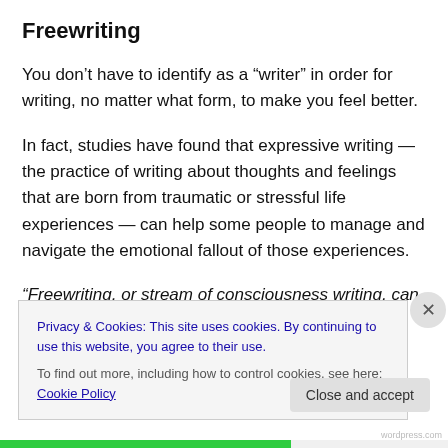Freewriting
You don’t have to identify as a “writer” in order for writing, no matter what form, to make you feel better.
In fact, studies have found that expressive writing — the practice of writing about thoughts and feelings that are born from traumatic or stressful life experiences — can help some people to manage and navigate the emotional fallout of those experiences.
“Freewriting, or stream of consciousness writing, can help
Privacy & Cookies: This site uses cookies. By continuing to use this website, you agree to their use.
To find out more, including how to control cookies, see here: Cookie Policy
Close and accept